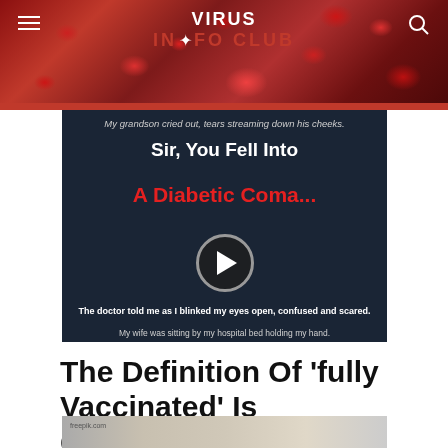VIRUS INFO CLUB
[Figure (screenshot): Video thumbnail showing diabetic coma story with text overlaid on dark background. Text reads: 'My grandson cried out, tears streaming down his cheeks. Sir, You Fell Into A Diabetic Coma... The doctor told me as I blinked my eyes open, confused and scared. My wife was sitting by my hospital bed holding my hand. Her eyes were red and she looked worried. She was pleading with the Doctor...' with a play button in the center.]
The Definition Of ‘fully Vaccinated’ Is Changing To Three Covid
[Figure (photo): Partial photo visible at the bottom of the page, appears to be an interior scene]